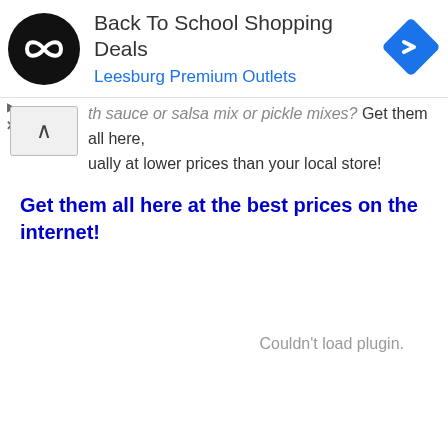[Figure (screenshot): Ad banner with circular logo, title 'Back To School Shopping Deals', subtitle 'Leesburg Premium Outlets', and blue diamond navigation icon]
...th sauce or salsa mix or pickle mixes?  Get them all here, usually at lower prices than your local store!
Get them all here at the best prices on the internet!
Couldn't load plugin.